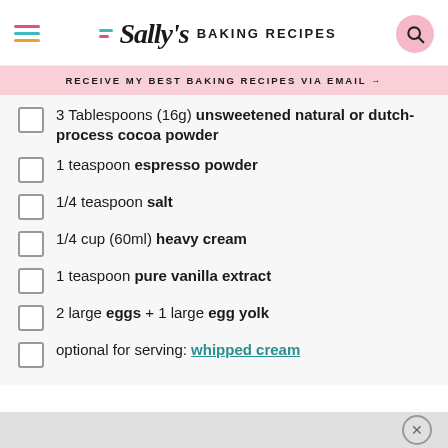Sally's BAKING RECIPES
RECEIVE MY BEST BAKING RECIPES VIA EMAIL →
3 Tablespoons (16g) unsweetened natural or dutch-process cocoa powder
1 teaspoon espresso powder
1/4 teaspoon salt
1/4 cup (60ml) heavy cream
1 teaspoon pure vanilla extract
2 large eggs + 1 large egg yolk
optional for serving: whipped cream